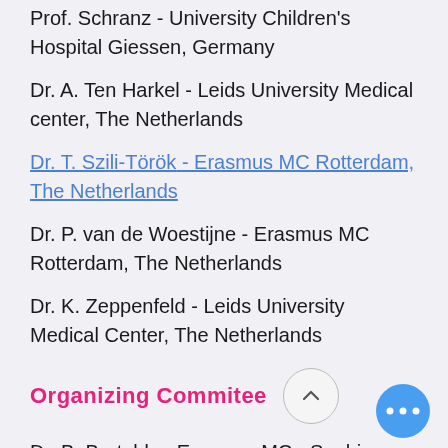Prof. Schranz - University Children's Hospital Giessen, Germany
Dr. A. Ten Harkel - Leids University Medical center, The Netherlands
Dr. T. Szili-Török - Erasmus MC Rotterdam, The Netherlands
Dr. P. van de Woestijne - Erasmus MC Rotterdam, The Netherlands
Dr. K. Zeppenfeld - Leids University Medical Center, The Netherlands
Organizing Commitee
Dr. B. Bartelds - Erasmus MC - Sophia Children's Hospital
Dr. R. Bokenkamp - LUMC